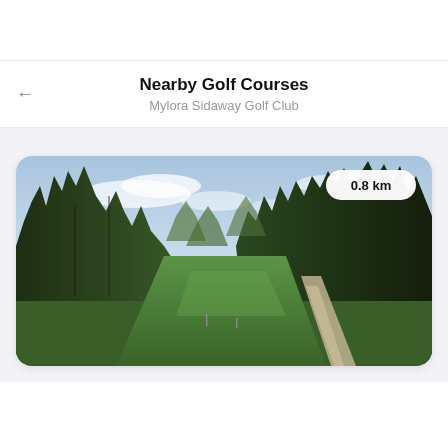Nearby Golf Courses
Mylora Sidaway Golf Club
[Figure (photo): Golf course fairway photo showing a tree-lined fairway with a cart path curving to the right, blue sky above, and green grass. A distance badge reading 0.8 km appears in the top right of the image. A club logo thumbnail is visible in the bottom left corner.]
0.8 km